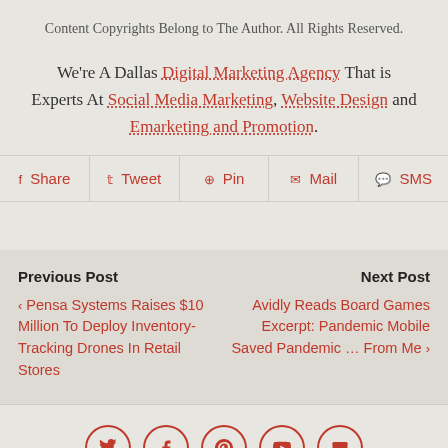Content Copyrights Belong to The Author. All Rights Reserved.
We're A Dallas Digital Marketing Agency That is Experts At Social Media Marketing, Website Design and Emarketing and Promotion.
Share  Tweet  Pin  Mail  SMS
Previous Post
‹ Pensa Systems Raises $10 Million To Deploy Inventory-Tracking Drones In Retail Stores
Next Post
Avidly Reads Board Games Excerpt: Pandemic Mobile Saved Pandemic … From Me ›
[Figure (other): Social media icon circles: Twitter, Facebook, Pinterest, YouTube, Email]